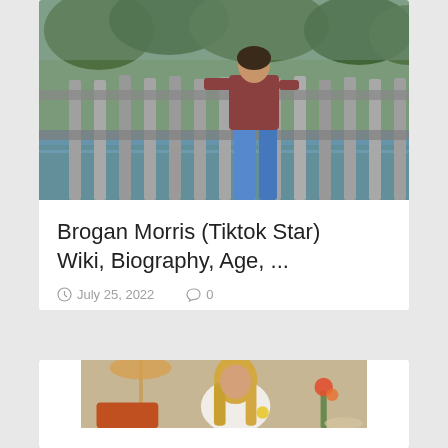[Figure (photo): Person leaning on a wooden fence railing outdoors near water, wearing a dark top and blue jeans, viewed from behind]
Brogan Morris (Tiktok Star) Wiki, Biography, Age, ...
July 25, 2022   0
[Figure (photo): Person with long blonde hair sitting on a beach, wearing a white outfit, with orange cushions and flowers nearby]